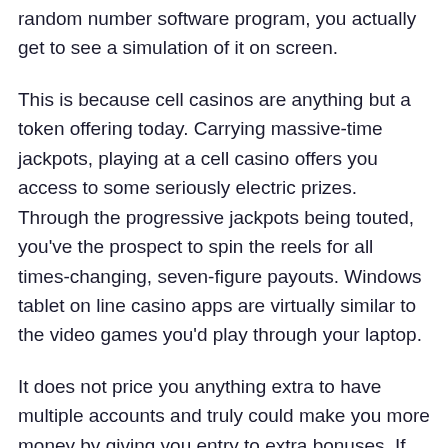random number software program, you actually get to see a simulation of it on screen.
This is because cell casinos are anything but a token offering today. Carrying massive-time jackpots, playing at a cell casino offers you access to some seriously electric prizes. Through the progressive jackpots being touted, you've the prospect to spin the reels for all times-changing, seven-figure payouts. Windows tablet on line casino apps are virtually similar to the video games you'd play through your laptop.
It does not price you anything extra to have multiple accounts and truly could make you more money by giving you entry to extra bonuses. If you like the slots at one app and the poker at another, make two accounts. It takes no more than a few seconds to log out of one app and into another.